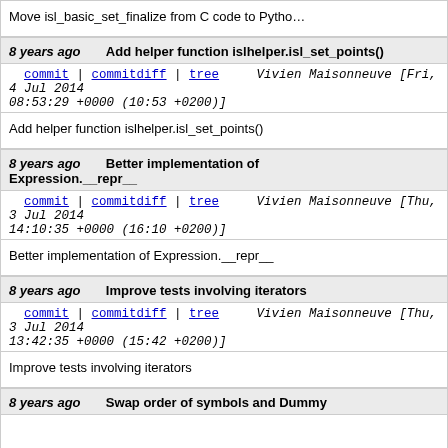Move isl_basic_set_finalize from C code to Python
8 years ago   Add helper function islhelper.isl_set_points()
commit | commitdiff | tree   Vivien Maisonneuve [Fri, 4 Jul 2014 08:53:29 +0000 (10:53 +0200)]
Add helper function islhelper.isl_set_points()
8 years ago   Better implementation of Expression.__repr__
commit | commitdiff | tree   Vivien Maisonneuve [Thu, 3 Jul 2014 14:10:35 +0000 (16:10 +0200)]
Better implementation of Expression.__repr__
8 years ago   Improve tests involving iterators
commit | commitdiff | tree   Vivien Maisonneuve [Thu, 3 Jul 2014 13:42:35 +0000 (15:42 +0200)]
Improve tests involving iterators
8 years ago   Swap order of symbols and Dummy